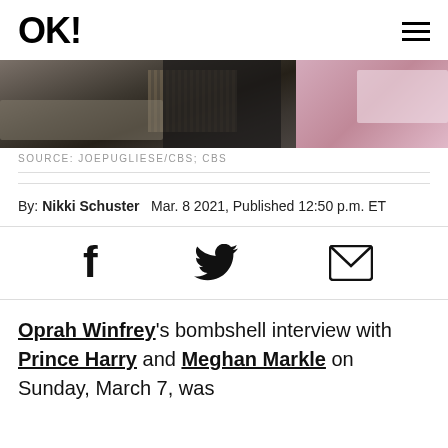OK!
[Figure (photo): Photo strip showing two people in a CBS interview setting on the left (dark clothing, woven chair visible), and a person in pink/mauve on the right.]
SOURCE: JOEPUGLIESE/CBS; CBS
By: Nikki Schuster   Mar. 8 2021, Published 12:50 p.m. ET
[Figure (infographic): Social share icons: Facebook (f), Twitter (bird), Email (envelope)]
Oprah Winfrey's bombshell interview with Prince Harry and Meghan Markle on Sunday, March 7, was